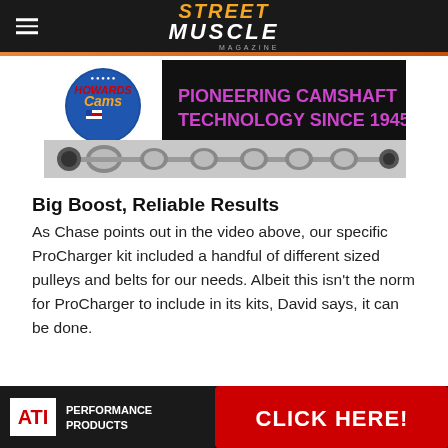Street Muscle Magazine
[Figure (illustration): Howard's Cams advertisement banner: logo with text 'PIONEERING CAMSHAFT TECHNOLOGY SINCE 1945' and image of a camshaft]
Big Boost, Reliable Results
As Chase points out in the video above, our specific ProCharger kit included a handful of different sized pulleys and belts for our needs. Albeit this isn't the norm for ProCharger to include in its kits, David says, it can be done.
“Our kits come with only one pulley already installed
[Figure (illustration): ATI Performance Products advertisement banner with red 'CLICK HERE!' button]